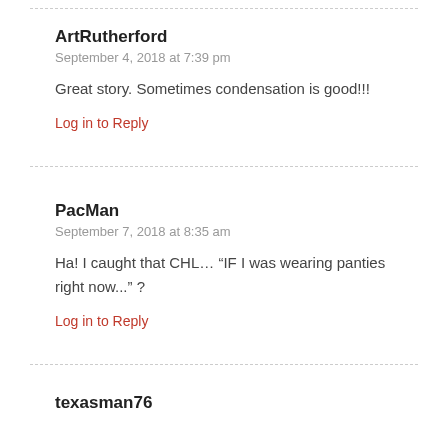ArtRutherford
September 4, 2018 at 7:39 pm
Great story. Sometimes condensation is good!!!
Log in to Reply
PacMan
September 7, 2018 at 8:35 am
Ha! I caught that CHL… “IF I was wearing panties right now...” ?
Log in to Reply
texasman76